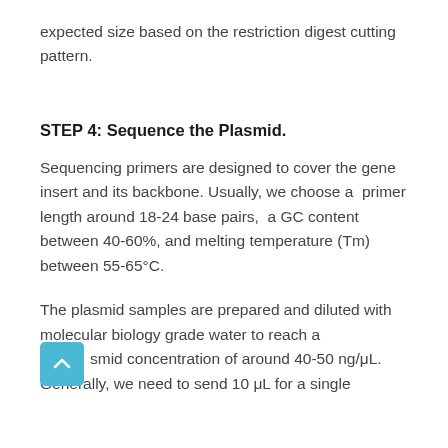expected size based on the restriction digest cutting pattern.
STEP 4: Sequence the Plasmid.
Sequencing primers are designed to cover the gene insert and its backbone. Usually, we choose a  primer length around 18-24 base pairs,  a GC content between 40-60%, and melting temperature (Tm) between 55-65°C.
The plasmid samples are prepared and diluted with molecular biology grade water to reach a plasmid concentration of around 40-50 ng/μL. Generally, we need to send 10 μL for a single